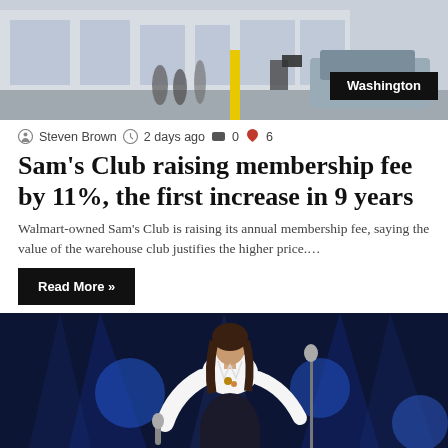[Figure (photo): Exterior of a Walmart/Sam's Club store with people and a vehicle visible, labeled Washington]
Steven Brown  2 days ago  0  6
Sam's Club raising membership fee by 11%, the first increase in 9 years
Walmart-owned Sam's Club is raising its annual membership fee, saying the value of the warehouse club justifies the higher price....
Read More »
[Figure (photo): A female singer performing on stage with blue stage lighting, holding a microphone]